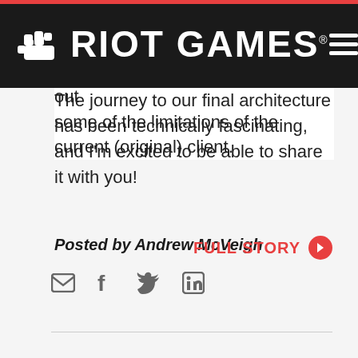[Figure (logo): Riot Games logo with fist icon and text RIOT GAMES on dark navbar, with hamburger menu icon on right]
architecture of this update and provide some more in-depth context, highlighting out some of the limitations of the current (original) client. The journey to our final architecture has been technically fascinating, and I'm excited to be able to share it with you!
Posted by Andrew McVeigh
FULL STORY
[Figure (illustration): Whimsical cartoon character illustration - an owl-like creature with goggles and mechanical tools (wrench and screwdriver), with curly decorative hair/feathers, drawn in black and white with red accent eyes, sitting on a platform]